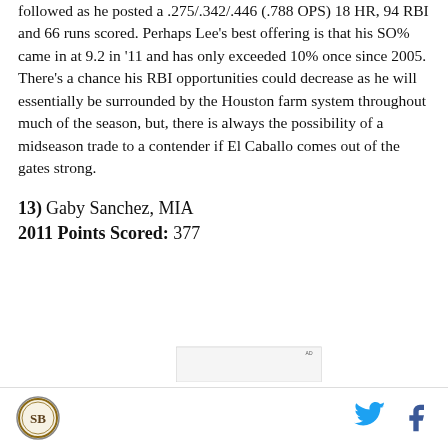followed as he posted a .275/.342/.446 (.788 OPS) 18 HR, 94 RBI and 66 runs scored. Perhaps Lee's best offering is that his SO% came in at 9.2 in '11 and has only exceeded 10% once since 2005. There's a chance his RBI opportunities could decrease as he will essentially be surrounded by the Houston farm system throughout much of the season, but, there is always the possibility of a midseason trade to a contender if El Caballo comes out of the gates strong.
13) Gaby Sanchez, MIA
2011 Points Scored: 377
[Figure (other): Advertisement block labeled AD]
Site logo, Twitter icon, Facebook icon